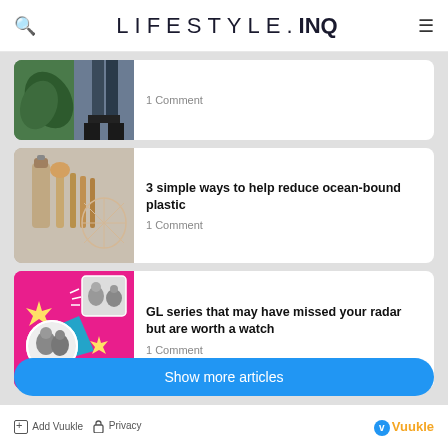LIFESTYLE.INQ
[Figure (photo): Two side-by-side thumbnail images: green leaf on left, person's feet/legs on right]
1 Comment
[Figure (photo): Eco-friendly reusable products: metal bottle, wooden utensils, mesh bag on neutral background]
3 simple ways to help reduce ocean-bound plastic
1 Comment
[Figure (photo): Colorful collage with magenta/pink background featuring black and white photos of people, yellow star bursts and teal shapes]
GL series that may have missed your radar but are worth a watch
1 Comment
Show more articles
Add Vuukle  Privacy  Vuukle